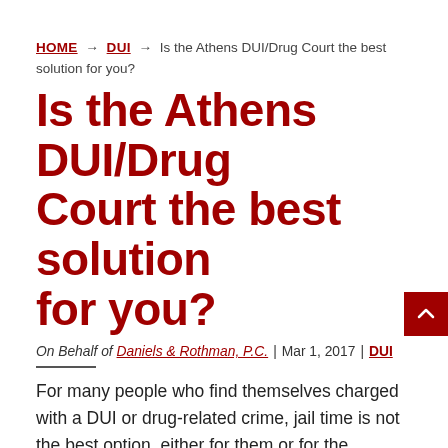HOME → DUI → Is the Athens DUI/Drug Court the best solution for you?
Is the Athens DUI/Drug Court the best solution for you?
On Behalf of Daniels & Rothman, P.C. | Mar 1, 2017 | DUI
For many people who find themselves charged with a DUI or drug-related crime, jail time is not the best option, either for them or for the community. That's where the Athens DUI/Drug Court comes in.
Started in late 2004 by the State Court of Clarke County...